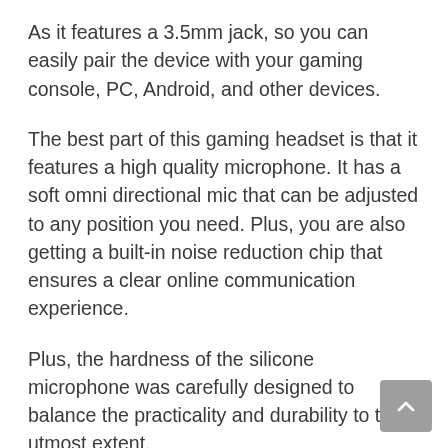As it features a 3.5mm jack, so you can easily pair the device with your gaming console, PC, Android, and other devices.
The best part of this gaming headset is that it features a high quality microphone. It has a soft omni directional mic that can be adjusted to any position you need. Plus, you are also getting a built-in noise reduction chip that ensures a clear online communication experience.
Plus, the hardness of the silicone microphone was carefully designed to balance the practicality and durability to the utmost extent.